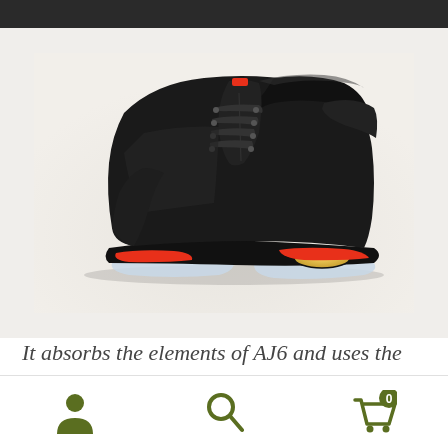[Figure (photo): Air Jordan 6 Retro sneaker in black with infrared red accents, translucent icy blue outsole, visible Air unit, photographed in profile view against a light gray/cream background]
It absorbs the elements of AJ6 and uses the innovative technology to make the brand-new
Navigation bar with user account icon, search icon, and shopping cart icon showing 0 items